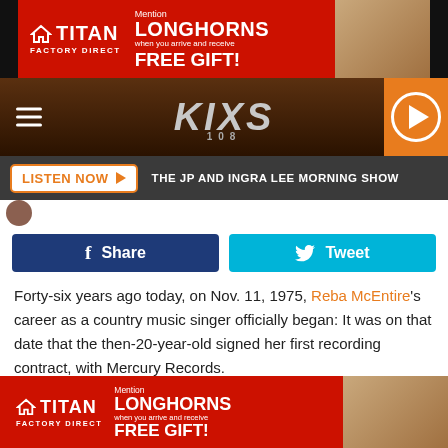[Figure (illustration): Titan Factory Direct advertisement banner - red background with white TITAN FACTORY DIRECT logo on left, MENTION LONGHORNS WHEN YOU ARRIVE AND RECEIVE FREE GIFT text in center, house/kitchen image on right]
[Figure (illustration): Radio station navigation bar with hamburger menu on left, KIXS 108 logo in center, orange play button on right, brown wood-texture background]
LISTEN NOW ▶  THE JP AND INGRA LEE MORNING SHOW
[Figure (illustration): Small circular avatar/profile image]
[Figure (illustration): Facebook Share button (dark blue) and Twitter Tweet button (light blue) side by side]
Forty-six years ago today, on Nov. 11, 1975, Reba McEntire's career as a country music singer officially began: It was on that date that the then-20-year-old signed her first recording contract, with Mercury Records.
McEntire was already singing in a group, the Singing McEntires, with her brother Pake and sister Susie at the time
[Figure (illustration): Titan Factory Direct advertisement banner at bottom - same as top banner with red background, TITAN FACTORY DIRECT logo, MENTION LONGHORNS FREE GIFT text, kitchen image on right]